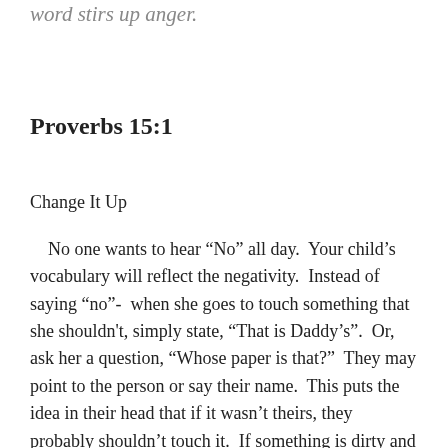A gentle answer turns away wrath, but a harsh word stirs up anger.
Proverbs 15:1
Change It Up
No one wants to hear “No” all day. Your child’s vocabulary will reflect the negativity. Instead of saying “no”- when she goes to touch something that she shouldn't, simply state, “That is Daddy’s”. Or, ask her a question, “Whose paper is that?” They may point to the person or say their name. This puts the idea in their head that if it wasn’t theirs, they probably shouldn’t touch it. If something is dirty and you don’t want her to touch it, (like smelly dog beds), wrinkle your nose in disgust and say, “You don’t want to touch that, it is dirty.” Unless it’s dangerous, don’t ever put things up or remove things out